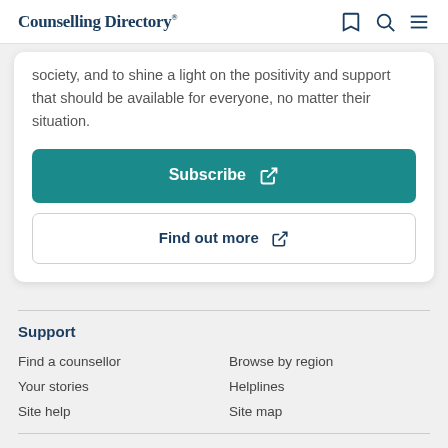Counselling Directory
society, and to shine a light on the positivity and support that should be available for everyone, no matter their situation.
Subscribe
Find out more
Support
Find a counsellor
Browse by region
Your stories
Helplines
Site help
Site map